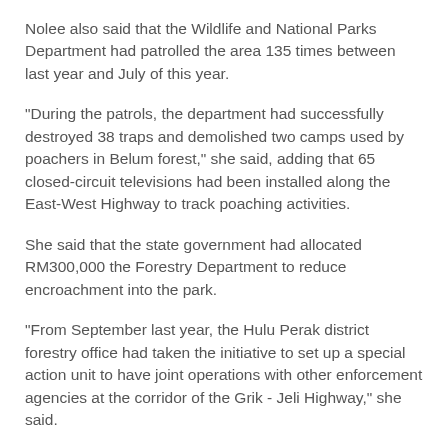Nolee also said that the Wildlife and National Parks Department had patrolled the area 135 times between last year and July of this year.
"During the patrols, the department had successfully destroyed 38 traps and demolished two camps used by poachers in Belum forest," she said, adding that 65 closed-circuit televisions had been installed along the East-West Highway to track poaching activities.
She said that the state government had allocated RM300,000 the Forestry Department to reduce encroachment into the park.
"From September last year, the Hulu Perak district forestry office had taken the initiative to set up a special action unit to have joint operations with other enforcement agencies at the corridor of the Grik - Jeli Highway," she said.
Police had also arrested 34 foreigners and nine locals for encroaching, she added.